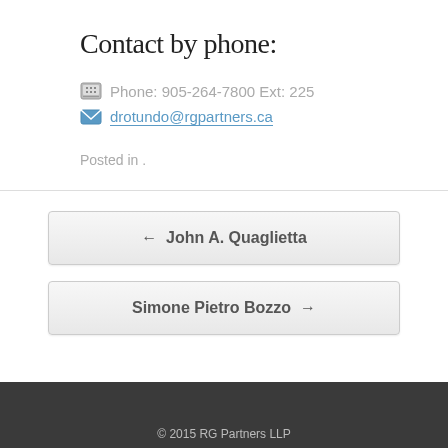Contact by phone:
Phone: 905-264-7800 Ext: 225
drotundo@rgpartners.ca
Posted in .
← John A. Quaglietta
Simone Pietro Bozzo →
© 2015 RG Partners LLP